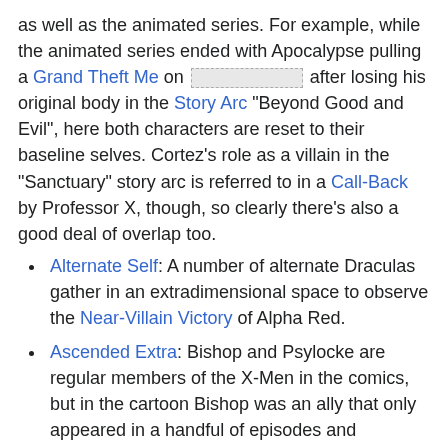as well as the animated series. For example, while the animated series ended with Apocalypse pulling a Grand Theft Me on [redacted] after losing his original body in the Story Arc "Beyond Good and Evil", here both characters are reset to their baseline selves. Cortez's role as a villain in the "Sanctuary" story arc is referred to in a Call-Back by Professor X, though, so clearly there's also a good deal of overlap too.
Alternate Self: A number of alternate Draculas gather in an extradimensional space to observe the Near-Villain Victory of Alpha Red.
Ascended Extra: Bishop and Psylocke are regular members of the X-Men in the comics, but in the cartoon Bishop was an ally that only appeared in a handful of episodes and Psylocke only appeared once. As a nod to this, they are noted to be the team's newest members.
Bad Future: As this trope is pretty much mandatory of any X-Men property, Scott and Jean get sent to one in the